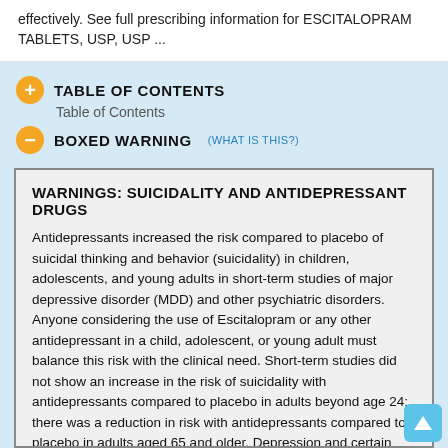effectively. See full prescribing information for ESCITALOPRAM TABLETS, USP, USP ...
TABLE OF CONTENTS
Table of Contents
BOXED WARNING (WHAT IS THIS?)
WARNINGS: SUICIDALITY AND ANTIDEPRESSANT DRUGS
Antidepressants increased the risk compared to placebo of suicidal thinking and behavior (suicidality) in children, adolescents, and young adults in short-term studies of major depressive disorder (MDD) and other psychiatric disorders. Anyone considering the use of Escitalopram or any other antidepressant in a child, adolescent, or young adult must balance this risk with the clinical need. Short-term studies did not show an increase in the risk of suicidality with antidepressants compared to placebo in adults beyond age 24; there was a reduction in risk with antidepressants compared to placebo in adults aged 65 and older. Depression and certain other psychiatric disorders are themselves associated with increase in the